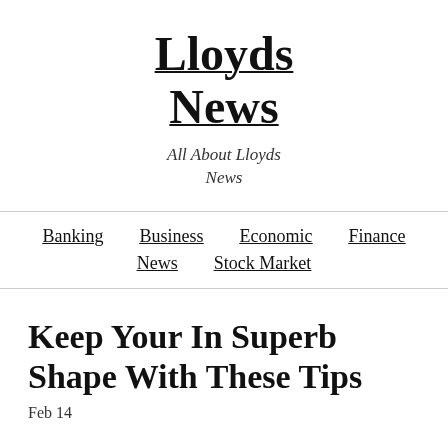Lloyds News
All About Lloyds News
Banking | Business | Economic | Finance | News | Stock Market
Keep Your In Superb Shape With These Tips
Feb 14